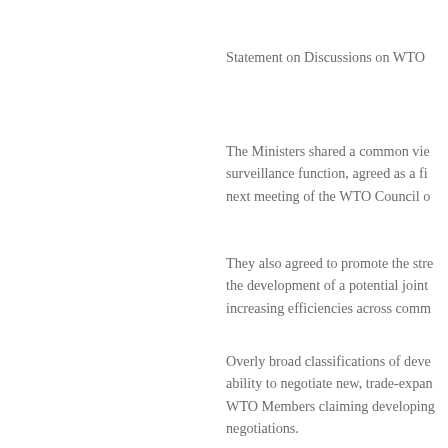Statement on Discussions on WTO [...]
The Ministers shared a common vie... surveillance function, agreed as a fi... next meeting of the WTO Council o...
They also agreed to promote the stre... the development of a potential joint... increasing efficiencies across comm...
Overly broad classifications of deve... ability to negotiate new, trade-expan... WTO Members claiming developing... negotiations.
Statement on Digital Trade and E-C[...]
The Ministers shared growing conce... digital trade and the growth of the [...]